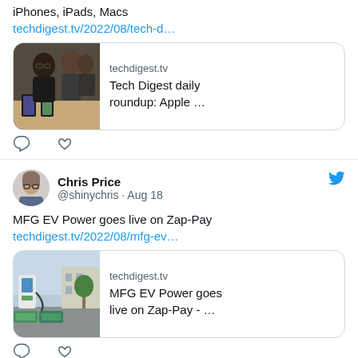iPhones, iPads, Macs
techdigest.tv/2022/08/tech-d…
[Figure (screenshot): Link card showing techdigest.tv article about Tech Digest daily roundup: Apple … with a photo of people in an Apple store looking at phones]
[Figure (other): Comment and heart icons (tweet actions)]
Chris Price @shinychris · Aug 18
MFG EV Power goes live on Zap-Pay
techdigest.tv/2022/08/mfg-ev…
[Figure (screenshot): Link card showing techdigest.tv article about MFG EV Power goes live on Zap-Pay - … with a photo of EV charging equipment]
[Figure (other): Comment and heart icons (tweet actions)]